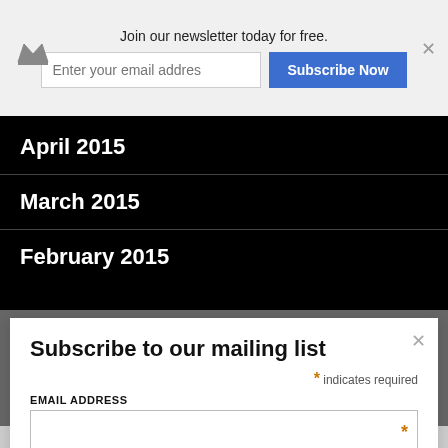Join our newsletter today for free.
Enter your email addres
Subscribe Now
April 2015
March 2015
February 2015
Subscribe to our mailing list
* indicates required
EMAIL ADDRESS
Subscribe